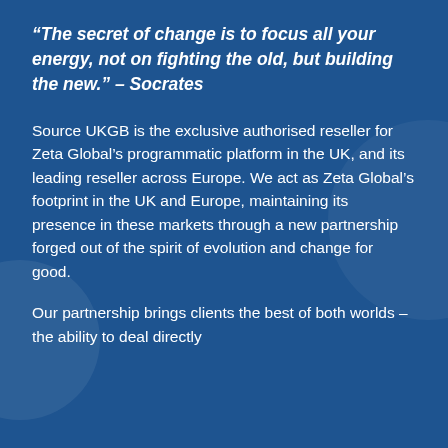“The secret of change is to focus all your energy, not on fighting the old, but building the new.” – Socrates
Source UKGB is the exclusive authorised reseller for Zeta Global’s programmatic platform in the UK, and its leading reseller across Europe. We act as Zeta Global’s footprint in the UK and Europe, maintaining its presence in these markets through a new partnership forged out of the spirit of evolution and change for good.
Our partnership brings clients the best of both worlds – the ability to deal directly